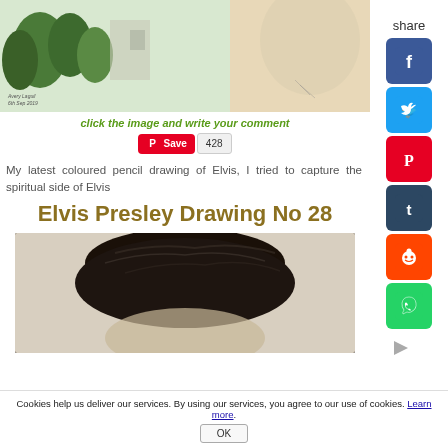[Figure (photo): Top portion of a coloured pencil drawing of Elvis Presley showing background with trees and buildings, watermark 'Avery Laguil 6th Sep 2019']
click the image and write your comment
[Figure (screenshot): Pinterest Save button with count 428]
My latest coloured pencil drawing of Elvis, I tried to capture the spiritual side of Elvis
Elvis Presley Drawing No 28
[Figure (photo): Bottom portion of a coloured pencil drawing of Elvis Presley showing dark hair from behind/top]
[Figure (screenshot): Social media share sidebar with Facebook, Twitter, Pinterest, Tumblr, Reddit, WhatsApp icons]
Cookies help us deliver our services. By using our services, you agree to our use of cookies. Learn more.